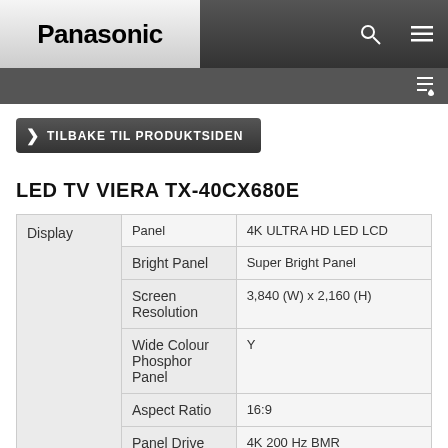Panasonic
LED TV VIERA TX-40CX680E
| Category | Feature | Value |
| --- | --- | --- |
| Display | Panel | 4K ULTRA HD LED LCD |
|  | Bright Panel | Super Bright Panel |
|  | Screen Resolution | 3,840 (W) x 2,160 (H) |
|  | Wide Colour Phosphor Panel | Y |
|  | Aspect Ratio | 16:9 |
|  | Panel Drive | 4K 200 Hz BMR |
|  | Picture Mode | Dynamic/Normal/Cinema/True Cinema/Custom |
|  | Dynamic Range | — |